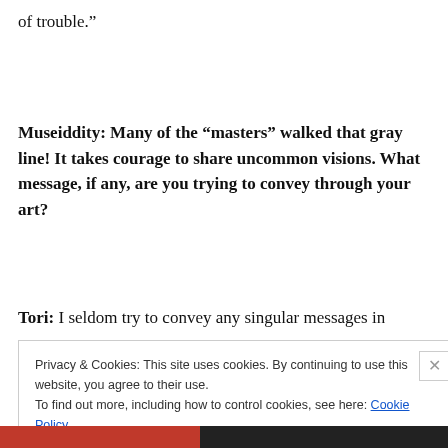of trouble.”
Museiddity: Many of the “masters” walked that gray line! It takes courage to share uncommon visions. What message, if any, are you trying to convey through your art?
Tori: I seldom try to convey any singular messages in
Privacy & Cookies: This site uses cookies. By continuing to use this website, you agree to their use.
To find out more, including how to control cookies, see here: Cookie Policy
Close and accept